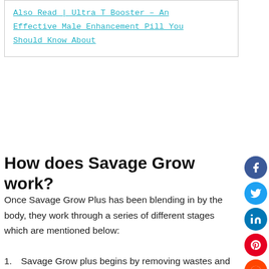Also Read | Ultra T Booster – An Effective Male Enhancement Pill You Should Know About
How does Savage Grow work?
Once Savage Grow Plus has been blending in by the body, they work through a series of different stages which are mentioned below:
Savage Grow plus begins by removing wastes and toxins from the body through all the extracts which are part it. Thus, the body's cells are re-energized again.
The second step is that the supplement works